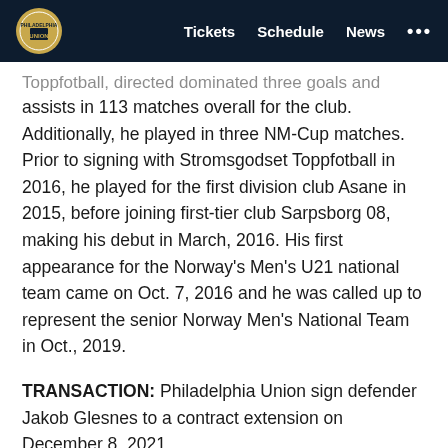Tickets  Schedule  News  ...
Toppfotball, directed dominated three goals and seven assists in 113 matches overall for the club. Additionally, he played in three NM-Cup matches. Prior to signing with Stromsgodset Toppfotball in 2016, he played for the first division club Asane in 2015, before joining first-tier club Sarpsborg 08, making his debut in March, 2016. His first appearance for the Norway's Men's U21 national team came on Oct. 7, 2016 and he was called up to represent the senior Norway Men's National Team in Oct., 2019.
TRANSACTION: Philadelphia Union sign defender Jakob Glesnes to a contract extension on December 8, 2021.